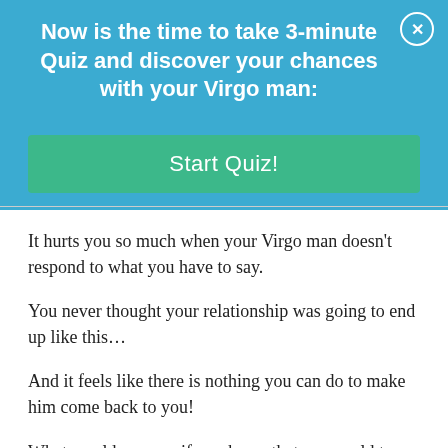Now is the time to take 3-minute Quiz and discover your chances with your Virgo man:
Start Quiz!
It hurts you so much when your Virgo man doesn't respond to what you have to say.
You never thought your relationship was going to end up like this…
And it feels like there is nothing you can do to make him come back to you!
What would you say if you knew that you could turn